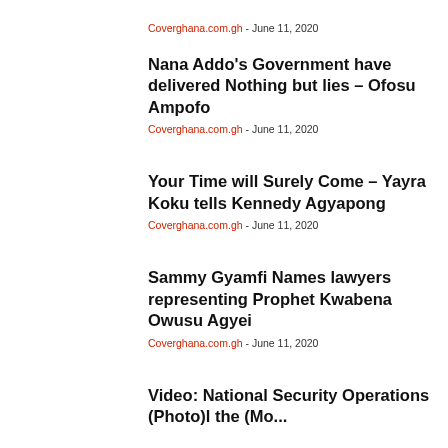Coverghana.com.gh - June 11, 2020
Nana Addo's Government have delivered Nothing but lies – Ofosu Ampofo
Coverghana.com.gh - June 11, 2020
Your Time will Surely Come – Yayra Koku tells Kennedy Agyapong
Coverghana.com.gh - June 11, 2020
Sammy Gyamfi Names lawyers representing Prophet Kwabena Owusu Agyei
Coverghana.com.gh - June 11, 2020
Video: National Security Operations (Photo)l the (Mo...